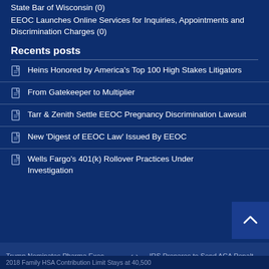State Bar of Wisconsin (0)
EEOC Launches Online Services for Inquiries, Appointments and Discrimination Charges (0)
Recents posts
Heins Honored by America's Top 100 High Stakes Litigators
From Gatekeeper to Multiplier
Tarr & Zenith Settle EEOC Pregnancy Discrimination Lawsuit
New 'Digest of EEOC Law' Issued By EEOC
Wells Fargo's 401(k) Rollover Practices Under Investigation
Trump Nominates Pharma Exec   < >   IRS Prepares to Send ACA Penalt...